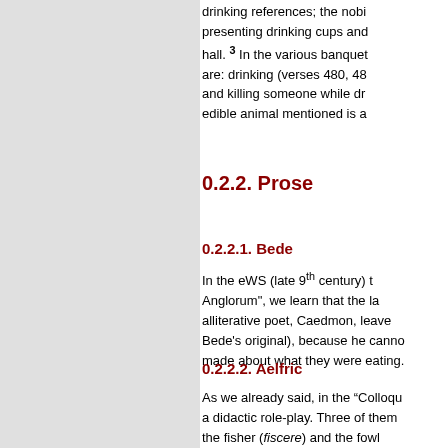drinking references; the nob presenting drinking cups and hall. 3 In the various banquet are: drinking (verses 480, 48 and killing someone while dr edible animal mentioned is a
0.2.2. Prose
0.2.2.1. Bede
6   In the eWS (late 9th century) t Anglorum", we learn that the la alliterative poet, Caedmon, leave Bede's original), because he canno made about what they were eating.
0.2.2.2. Aelfric
7   As we already said, in the “Colloqu a didactic role-play. Three of them the fisher (fiscere) and the fowl mentioned is almost purely native